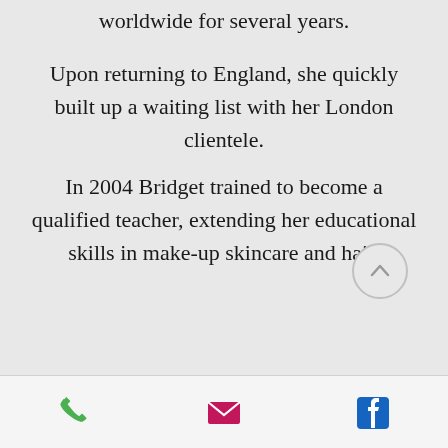worldwide for several years.
Upon returning to England, she quickly built up a waiting list with her London clientele.
In 2004 Bridget trained to become a qualified teacher, extending her educational skills in make-up skincare and hair.
Phone | Email | Facebook